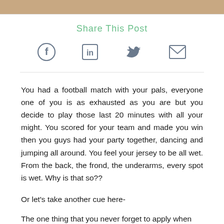[Figure (photo): Partial image strip at top of page, warm sandy/brown tones]
Share This Post
[Figure (infographic): Four social media sharing icons: Facebook, LinkedIn, Twitter, Email]
You had a football match with your pals, everyone one of you is as exhausted as you are but you decide to play those last 20 minutes with all your might. You scored for your team and made you win then you guys had your party together, dancing and jumping all around. You feel your jersey to be all wet. From the back, the frond, the underarms, every spot is wet. Why is that so??
Or let's take another cue here-
The one thing that you never forget to apply when